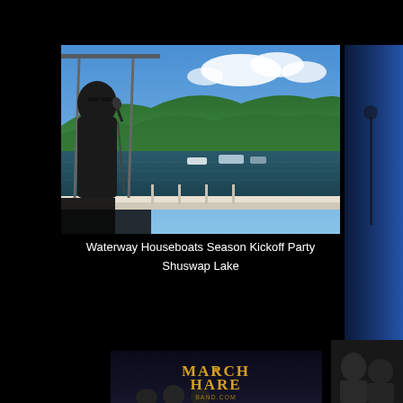[Figure (photo): A person standing under a canopy holding a microphone, performing outdoors on a houseboat or dock, with a mountain lake (Shuswap Lake) and forested hillside in the background under a blue sky with white clouds.]
Waterway Houseboats Season Kickoff Party
Shuswap Lake
[Figure (photo): Partial view of a blue-lit concert or stage scene on the right edge of the page.]
[Figure (photo): March Hare Band logo/banner visible at the bottom of the page, showing the text MARCH HARE BAND.COM with partial view of band members.]
[Figure (photo): Partial view of people at bottom right of the page, likely band members or audience at a concert.]